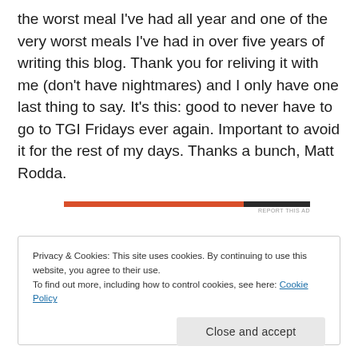the worst meal I've had all year and one of the very worst meals I've had in over five years of writing this blog. Thank you for reliving it with me (don't have nightmares) and I only have one last thing to say. It's this: good to never have to go to TGI Fridays ever again. Important to avoid it for the rest of my days. Thanks a bunch, Matt Rodda.
[Figure (other): Horizontal progress bar with orange and black segments, labeled REPORT THIS AD]
Privacy & Cookies: This site uses cookies. By continuing to use this website, you agree to their use.
To find out more, including how to control cookies, see here: Cookie Policy
Close and accept